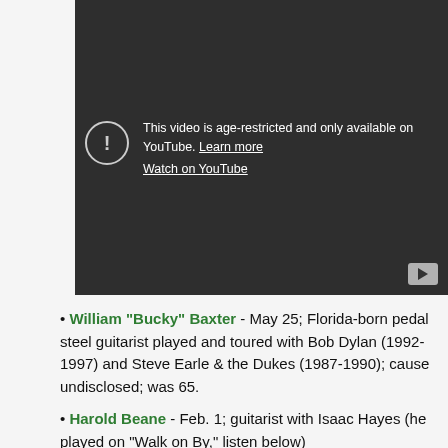[Figure (screenshot): Embedded YouTube video player showing age-restriction message: 'This video is age-restricted and only available on YouTube. Learn more' with a 'Watch on YouTube' link and a play button in the bottom-right corner.]
William "Bucky" Baxter - May 25; Florida-born pedal steel guitarist played and toured with Bob Dylan (1992-1997) and Steve Earle & the Dukes (1987-1990); cause undisclosed; was 65.
Harold Beane - Feb. 1; guitarist with Isaac Hayes (he played on "Walk on By," listen below)